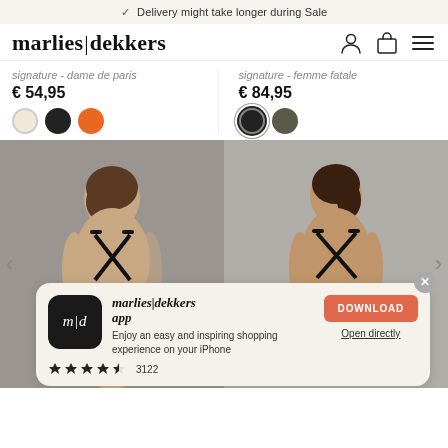Delivery might take longer during Sale
[Figure (logo): marlies|dekkers logo and nav icons]
signature - dame de paris
€ 54,95
signature - femme fatale
€ 84,95
[Figure (photo): Two women wearing black lingerie, shown from behind, product photos for marlies|dekkers]
marlies|dekkers app
Enjoy an easy and inspiring shopping experience on your iPhone
★★★★½ 3122